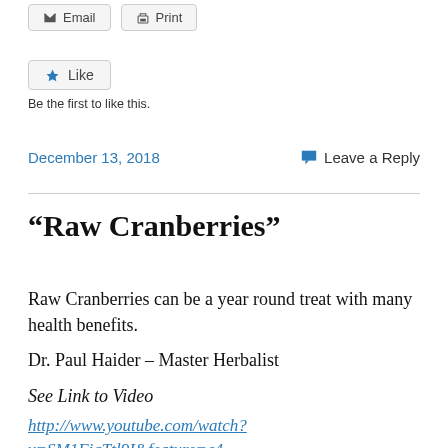Email  Print
Like
Be the first to like this.
December 13, 2018    Leave a Reply
“Raw Cranberries”
Raw Cranberries can be a year round treat with many health benefits.
Dr. Paul Haider – Master Herbalist
See Link to Video
http://www.youtube.com/watch?v=SM1FiqTtl9I&feature=c4-